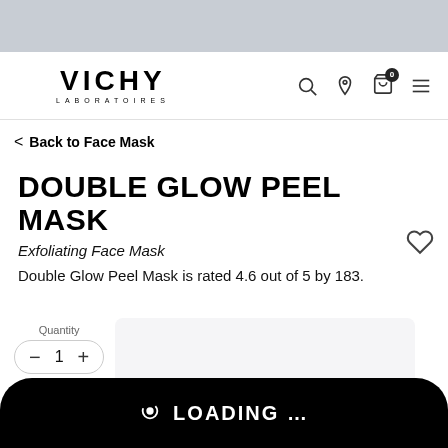[Figure (screenshot): Top grey decorative banner strip]
VICHY LABORATOIRES — navigation bar with search, location, cart (0), and menu icons
< Back to Face Mask
DOUBLE GLOW PEEL MASK
Exfoliating Face Mask
Double Glow Peel Mask is rated 4.6 out of 5 by 183.
[Figure (photo): Product image area — partial view of product packaging at bottom of page]
Quantity 1
LOADING ...